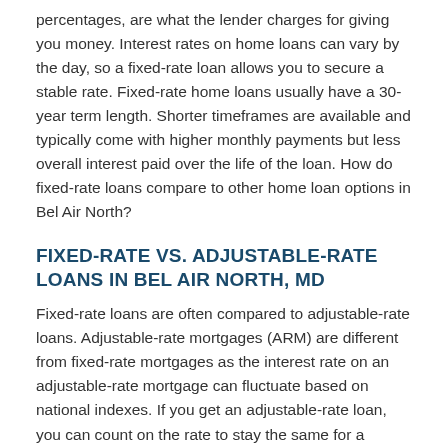percentages, are what the lender charges for giving you money. Interest rates on home loans can vary by the day, so a fixed-rate loan allows you to secure a stable rate. Fixed-rate home loans usually have a 30-year term length. Shorter timeframes are available and typically come with higher monthly payments but less overall interest paid over the life of the loan. How do fixed-rate loans compare to other home loan options in Bel Air North?
FIXED-RATE VS. ADJUSTABLE-RATE LOANS IN BEL AIR NORTH, MD
Fixed-rate loans are often compared to adjustable-rate loans. Adjustable-rate mortgages (ARM) are different from fixed-rate mortgages as the interest rate on an adjustable-rate mortgage can fluctuate based on national indexes. If you get an adjustable-rate loan, you can count on the rate to stay the same for a certain period of time (ex. 3, 5, or 10 years), then the rate will adjust at particular intervals. If the interest rate goes up after your fixed-rate period has ended, your monthly payments could go up too. Give a Mr. Cooper mortgage professional a call to learn about the confidence a fixed-rate mortgage can offer. We'll help you see how different from your mind about the...